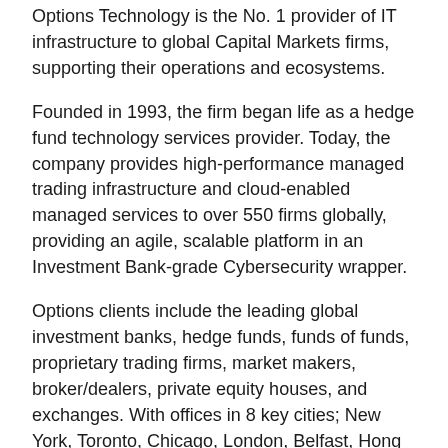Options Technology is the No. 1 provider of IT infrastructure to global Capital Markets firms, supporting their operations and ecosystems.
Founded in 1993, the firm began life as a hedge fund technology services provider. Today, the company provides high-performance managed trading infrastructure and cloud-enabled managed services to over 550 firms globally, providing an agile, scalable platform in an Investment Bank-grade Cybersecurity wrapper.
Options clients include the leading global investment banks, hedge funds, funds of funds, proprietary trading firms, market makers, broker/dealers, private equity houses, and exchanges. With offices in 8 key cities; New York, Toronto, Chicago, London, Belfast, Hong Kong, Singapore, and Auckland, Options are well placed to service their customers on-site and remotely.